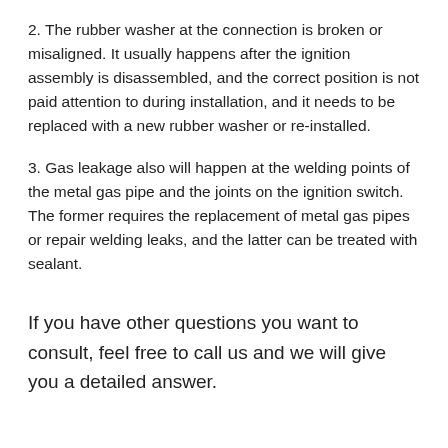2. The rubber washer at the connection is broken or misaligned. It usually happens after the ignition assembly is disassembled, and the correct position is not paid attention to during installation, and it needs to be replaced with a new rubber washer or re-installed.
3. Gas leakage also will happen at the welding points of the metal gas pipe and the joints on the ignition switch. The former requires the replacement of metal gas pipes or repair welding leaks, and the latter can be treated with sealant.
If you have other questions you want to consult, feel free to call us and we will give you a detailed answer.